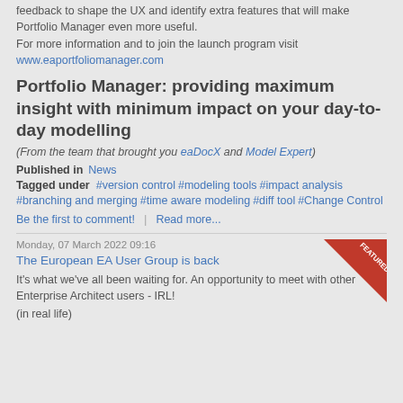feedback to shape the UX and identify extra features that will make Portfolio Manager even more useful.
For more information and to join the launch program visit www.eaportfoliomanager.com
Portfolio Manager: providing maximum insight with minimum impact on your day-to-day modelling
(From the team that brought you eaDocX and Model Expert)
Published in   News
Tagged under   #version control   #modeling tools   #impact analysis   #branching and merging   #time aware modeling   #diff tool   #Change Control
Be the first to comment!   |   Read more...
Monday, 07 March 2022 09:16
The European EA User Group is back
It's what we've all been waiting for.  An opportunity to meet with other Enterprise Architect users - IRL!
(in real life)